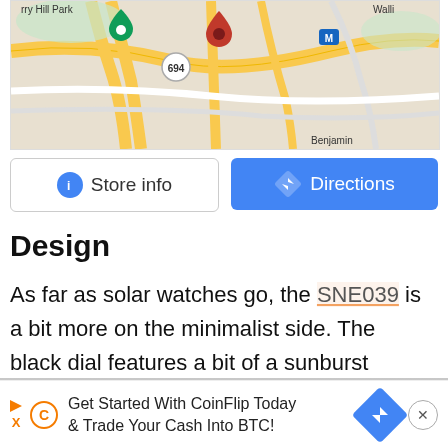[Figure (map): Google Maps view showing streets and location pin near Cherry Hill Park, with route 694 visible and Benjamin area label]
[Figure (screenshot): Store info and Directions buttons. Store info has blue circle info icon with grey border. Directions has blue background with white diamond arrow icon.]
Design
As far as solar watches go, the SNE039 is a bit more on the minimalist side. The black dial features a bit of a sunburst effect, while the markers are a simple stick design, and the hands are index-style.
[Figure (photo): Partial photo of a watch crown/crown knob, light grey background]
[Figure (screenshot): Advertisement bar: Get Started With CoinFlip Today & Trade Your Cash Into BTC! with orange CoinFlip logo icons and blue directions arrow icon and X close button]